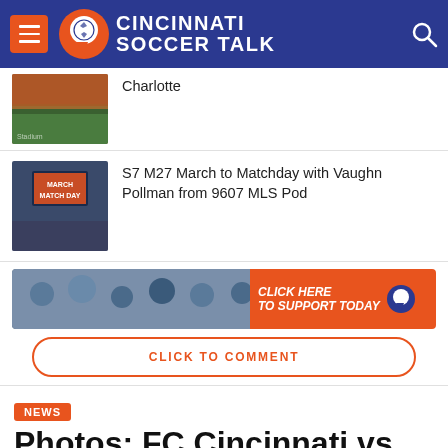Cincinnati Soccer Talk
[Figure (screenshot): Thumbnail image of a soccer stadium filled with fans]
Charlotte
[Figure (screenshot): Thumbnail image showing a March to Matchday billboard at stadium]
S7 M27 March to Matchday with Vaughn Pollman from 9607 MLS Pod
[Figure (infographic): Banner advertisement with fans photo and orange CLICK HERE TO SUPPORT TODAY button with Cincinnati Soccer Talk logo]
CLICK TO COMMENT
NEWS
Photos: FC Cincinnati vs. Crystal Palace